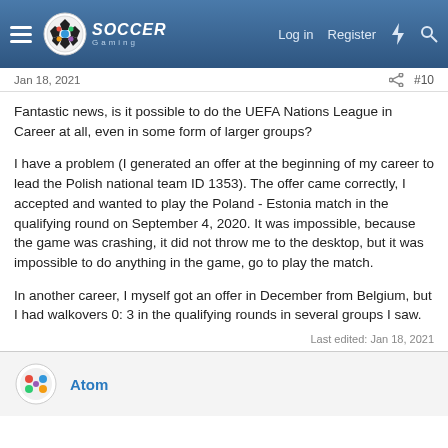Soccer Gaming — Log in  Register
Jan 18, 2021  #10
Fantastic news, is it possible to do the UEFA Nations League in Career at all, even in some form of larger groups?

I have a problem (I generated an offer at the beginning of my career to lead the Polish national team ID 1353). The offer came correctly, I accepted and wanted to play the Poland - Estonia match in the qualifying round on September 4, 2020. It was impossible, because the game was crashing, it did not throw me to the desktop, but it was impossible to do anything in the game, go to play the match.

In another career, I myself got an offer in December from Belgium, but I had walkovers 0: 3 in the qualifying rounds in several groups I saw.
Last edited: Jan 18, 2021
Atom